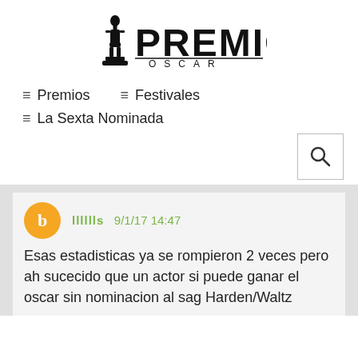[Figure (logo): Premios Oscar logo with Oscar statuette silhouette and text PREMIOS OSCAR]
≡ Premios   ≡ Festivales
≡ La Sexta Nominada
[Figure (other): Search icon button]
lllllls 9/1/17 14:47
Esas estadisticas ya se rompieron 2 veces pero ah sucecido que un actor si puede ganar el oscar sin nominacion al sag Harden/Waltz